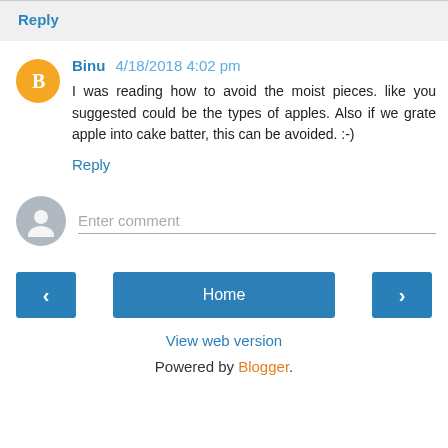Reply
Binu 4/18/2018 4:02 pm
I was reading how to avoid the moist pieces. like you suggested could be the types of apples. Also if we grate apple into cake batter, this can be avoided. :-)
Reply
Enter comment
Home
View web version
Powered by Blogger.